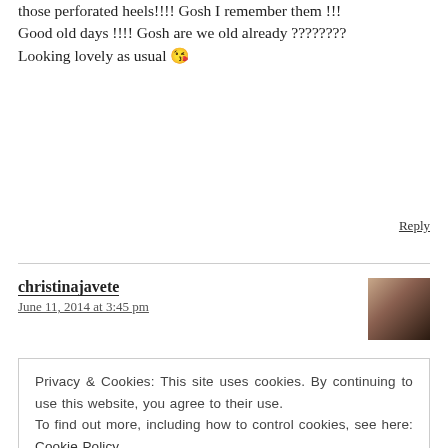those perforated heels!!!! Gosh I remember them !!! Good old days !!!! Gosh are we old already ???????? Looking lovely as usual 😘
Reply
christinajavete
June 11, 2014 at 3:45 pm
Privacy & Cookies: This site uses cookies. By continuing to use this website, you agree to their use. To find out more, including how to control cookies, see here: Cookie Policy
Close and accept